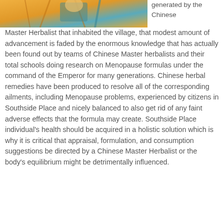[Figure (illustration): Partial illustration of a Chinese herbalist figure in orange/teal colors, cropped at top of page]
generated by the Chinese Master Herbalist that inhabited the village, that modest amount of advancement is faded by the enormous knowledge that has actually been found out by teams of Chinese Master herbalists and their total schools doing research on Menopause formulas under the command of the Emperor for many generations. Chinese herbal remedies have been produced to resolve all of the corresponding ailments, including Menopause problems, experienced by citizens in Southside Place and nicely balanced to also get rid of any faint adverse effects that the formula may create. Southside Place individual's health should be acquired in a holistic solution which is why it is critical that appraisal, formulation, and consumption suggestions be directed by a Chinese Master Herbalist or the body's equilibrium might be detrimentally influenced.